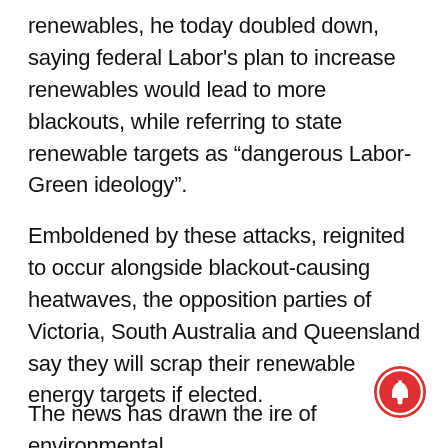renewables, he today doubled down, saying federal Labor's plan to increase renewables would lead to more blackouts, while referring to state renewable targets as “dangerous Labor-Green ideology”.
Emboldened by these attacks, reignited to occur alongside blackout-causing heatwaves, the opposition parties of Victoria, South Australia and Queensland say they will scrap their renewable energy targets if elected.
The news has drawn the ire of environmental